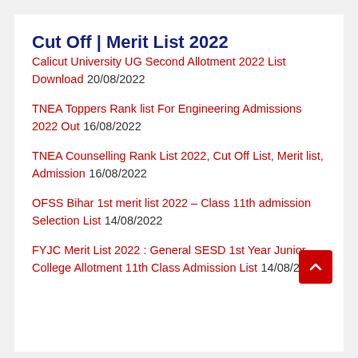Cut Off | Merit List 2022
Calicut University UG Second Allotment 2022 List Download 20/08/2022
TNEA Toppers Rank list For Engineering Admissions 2022 Out 16/08/2022
TNEA Counselling Rank List 2022, Cut Off List, Merit list, Admission 16/08/2022
OFSS Bihar 1st merit list 2022 – Class 11th admission Selection List 14/08/2022
FYJC Merit List 2022 : General SESD 1st Year Junior College Allotment 11th Class Admission List 14/08/20